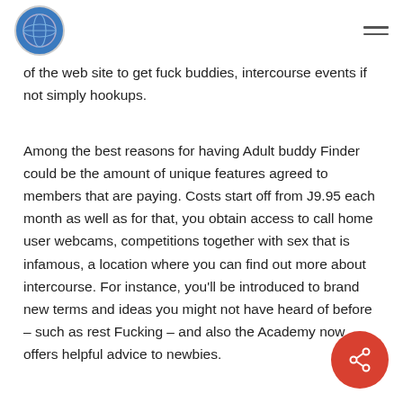[Logo] [Navigation menu icon]
of the web site to get fuck buddies, intercourse events if not simply hookups.
Among the best reasons for having Adult buddy Finder could be the amount of unique features agreed to members that are paying. Costs start off from J9.95 each month as well as for that, you obtain access to call home user webcams, competitions together with sex that is infamous, a location where you can find out more about intercourse. For instance, you'll be introduced to brand new terms and ideas you might not have heard of before – such as rest Fucking – and also the Academy now offers helpful advice to newbies.